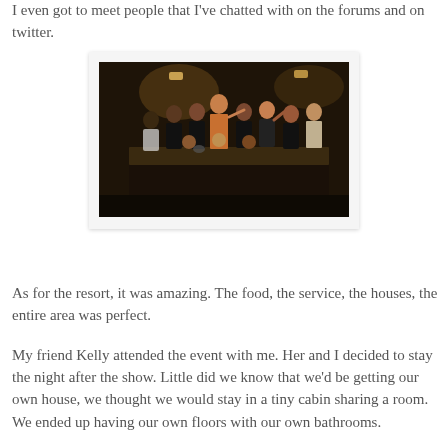I even got to meet people that I've chatted with on the forums and on twitter.
[Figure (photo): A group of people gathered around a long table in a dimly lit room, appears to be a party or event gathering.]
As for the resort, it was amazing. The food, the service, the houses, the entire area was perfect.
My friend Kelly attended the event with me. Her and I decided to stay the night after the show. Little did we know that we'd be getting our own house, we thought we would stay in a tiny cabin sharing a room. We ended up having our own floors with our own bathrooms.